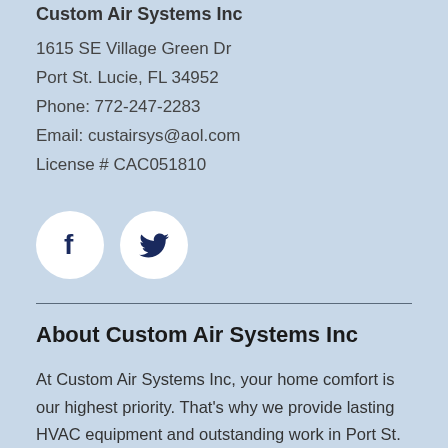Custom Air Systems Inc
1615 SE Village Green Dr
Port St. Lucie, FL 34952
Phone: 772-247-2283
Email: custairsys@aol.com
License # CAC051810
[Figure (logo): Facebook and Twitter social media icons in white circles on light blue background]
About Custom Air Systems Inc
At Custom Air Systems Inc, your home comfort is our highest priority. That's why we provide lasting HVAC equipment and outstanding work in Port St. Lucie. Our specialists are also set up to give you a range of...